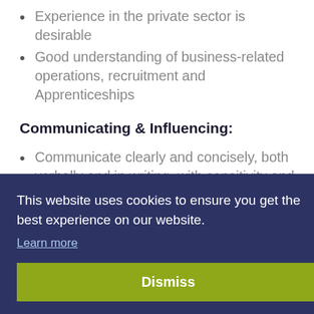Experience in the private sector is desirable
Good understanding of business-related operations, recruitment and Apprenticeships
Communicating & Influencing:
Communicate clearly and concisely, both verbally and in writing, with sensitivity and respect for others
Demonstrates an ability to develop and nurture
[Figure (screenshot): Cookie consent overlay on a dark navy background with text 'This website uses cookies to ensure you get the best experience on our website.' with a 'Learn more' link and a yellow-green 'Dismiss' button.]